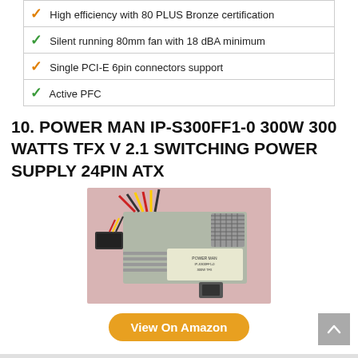High efficiency with 80 PLUS Bronze certification
Silent running 80mm fan with 18 dBA minimum
Single PCI-E 6pin connectors support
Active PFC
10. POWER MAN IP-S300FF1-0 300W 300 WATTS TFX V 2.1 SWITCHING POWER SUPPLY 24PIN ATX
[Figure (photo): Photo of POWER MAN IP-S300FF1-0 300W TFX power supply unit with cables, fan visible on top, power connector on front, shown on pink background]
View On Amazon